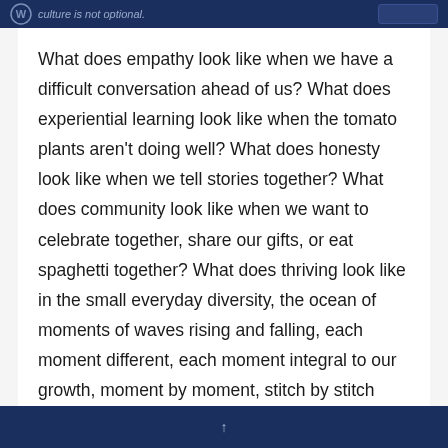culture is not optional.
What does empathy look like when we have a difficult conversation ahead of us? What does experiential learning look like when the tomato plants aren't doing well? What does honesty look like when we tell stories together? What does community look like when we want to celebrate together, share our gifts, or eat spaghetti together? What does thriving look like in the small everyday diversity, the ocean of moments of waves rising and falling, each moment different, each moment integral to our growth, moment by moment, stitch by stitch learning in every
↑